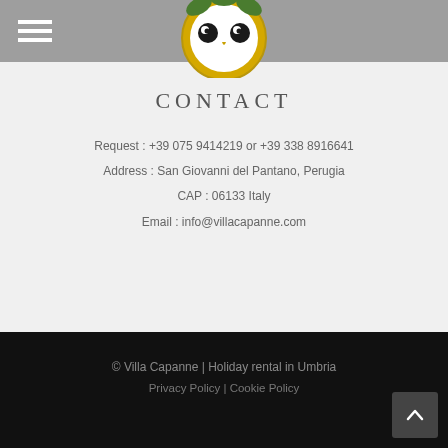[Figure (logo): TripAdvisor logo centered in gray header bar]
CONTACT
Request : +39 075 9414219 or +39 338 8916641
Address : San Giovanni del Pantano, Perugia
CAP : 06133 Italy
Email : info@villacapanne.com
© Villa Capanne | Holiday rental in Umbria
Privacy Policy | Cookie Policy